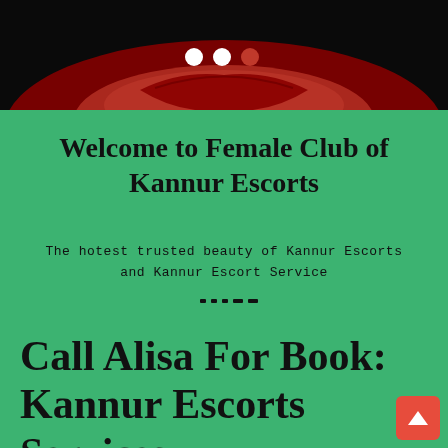[Figure (photo): Close-up photo of red lips on dark background with navigation dots overlay]
Welcome to Female Club of Kannur Escorts
The hotest trusted beauty of Kannur Escorts and Kannur Escort Service
Call Alisa For Book: Kannur Escorts Services
They like to opt for a blind date with a horny woman invariably. If you're one amongst them World Health